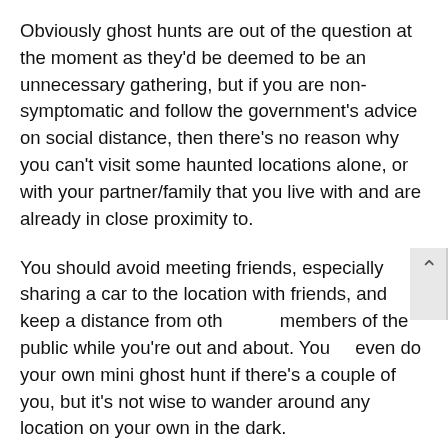Obviously ghost hunts are out of the question at the moment as they'd be deemed to be an unnecessary gathering, but if you are non-symptomatic and follow the government's advice on social distance, then there's no reason why you can't visit some haunted locations alone, or with your partner/family that you live with and are already in close proximity to.
You should avoid meeting friends, especially sharing a car to the location with friends, and keep a distance from other members of the public while you're out and about. You could even do your own mini ghost hunt if there's a couple of you, but it's not wise to wander around any location on your own in the dark.
As for where to go, the National Trust have announced that they're closing their houses, shops and cafes, but are opening their parks, gardens and open spaces in the countryside and coastal regions for free. There are several haunted National Trust locations that you can at least take a look at from the outside, and if nothing else, it's a great chance to relax outdoors without the normal entry cost.